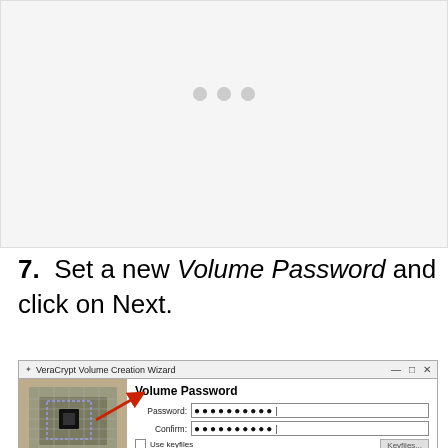[Figure (screenshot): Blank/placeholder screenshot area with three gray dots in the center, representing a loading or missing image state.]
7.  Set a new Volume Password and click on Next.
[Figure (screenshot): VeraCrypt Volume Creation Wizard dialog showing the Volume Password step. Fields for Password and Confirm are filled with dots. Checkboxes for Use keyfiles, Display password, Use PIM. A Keyfiles... button is visible. A red arrow points toward the Use keyfiles checkbox.]